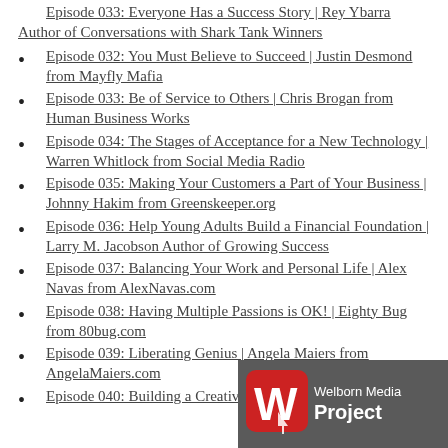Episode 033: Everyone Has a Success Story | Rey Ybarra Author of Conversations with Shark Tank Winners
Episode 032: You Must Believe to Succeed | Justin Desmond from Mayfly Mafia
Episode 033: Be of Service to Others | Chris Brogan from Human Business Works
Episode 034: The Stages of Acceptance for a New Technology | Warren Whitlock from Social Media Radio
Episode 035: Making Your Customers a Part of Your Business | Johnny Hakim from Greenskeeper.org
Episode 036: Help Young Adults Build a Financial Foundation | Larry M. Jacobson Author of Growing Success
Episode 037: Balancing Your Work and Personal Life | Alex Navas from AlexNavas.com
Episode 038: Having Multiple Passions is OK! | Eighty Bug from 80bug.com
Episode 039: Liberating Genius | Angela Maiers from AngelaMaiers.com
Episode 040: Building a Creative Co...
[Figure (logo): Welborn Media Project logo — red rounded square with white W icon and grey background with text 'Welborn Media Project']